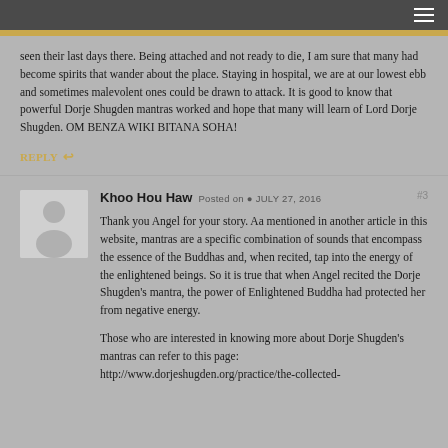seen their last days there. Being attached and not ready to die, I am sure that many had become spirits that wander about the place. Staying in hospital, we are at our lowest ebb and sometimes malevolent ones could be drawn to attack. It is good to know that powerful Dorje Shugden mantras worked and hope that many will learn of Lord Dorje Shugden. OM BENZA WIKI BITANA SOHA!
REPLY
Khoo Hou Haw  Posted on  JULY 27, 2016  #3
Thank you Angel for your story. Aa mentioned in another article in this website, mantras are a specific combination of sounds that encompass the essence of the Buddhas and, when recited, tap into the energy of the enlightened beings. So it is true that when Angel recited the Dorje Shugden's mantra, the power of Enlightened Buddha had protected her from negative energy.
Those who are interested in knowing more about Dorje Shugden's mantras can refer to this page: http://www.dorjeshugden.org/practice/the-collected-